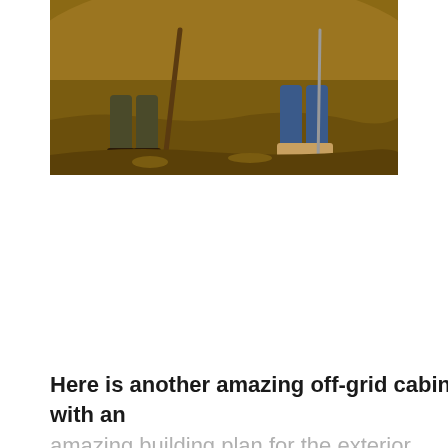[Figure (photo): Two people digging in a dirt excavation site, visible from the waist down. One person wears work boots and olive pants, the other wears jeans and tan boots. One holds a shovel with a metal blade, the other holds a thin rod or stake. The background shows a large mound of brown dirt.]
Here is another amazing off-grid cabin with an amazing building plan for the exterior design. This guide will also show you how to set up the interior